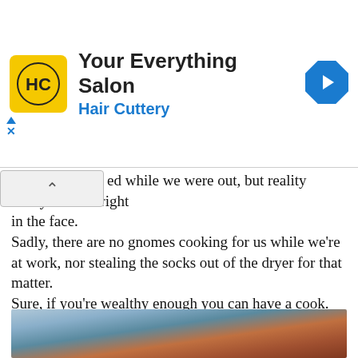[Figure (logo): Hair Cuttery advertisement banner with yellow HC logo, 'Your Everything Salon' heading in bold, 'Hair Cuttery' subtitle in blue, and a blue diamond-shaped arrow icon on the right]
...ed while we were out, but reality always hits us right in the face.
Sadly, there are no gnomes cooking for us while we're at work, nor stealing the socks out of the dryer for that matter.
Sure, if you're wealthy enough you can have a cook.
But for the rest of us who can't afford having a cook on staff, cooking dinner every night can be a time-consuming task.
One of my go-to recipe when I'm short for time, is these chicken rollatini.
[Figure (photo): Close-up photo of chicken rollatini dish, blurred background with food in foreground]